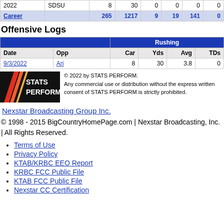| Year | Team | Car | Yds | Avg | TDs | Long | Fum |
| --- | --- | --- | --- | --- | --- | --- | --- |
| 2022 | SDSU | 8 | 30 | 0 | 0 | 0 | 0 |
| Career |  | 265 | 1217 | 9 | 19 | 141 | 0 |
Offensive Logs
| Date | Opp | Car | Yds | Avg | TDs |
| --- | --- | --- | --- | --- | --- |
| 9/3/2022 | Ari | 8 | 30 | 3.8 | 0 |
[Figure (logo): STATS PERFORM logo - black background with red/orange diagonal stripes and white text]
© 2022 by STATS PERFORM. Any commercial use or distribution without the express written consent of STATS PERFORM is strictly prohibited.
Nexstar Broadcasting Group Inc.
© 1998 - 2015 BigCountryHomePage.com | Nexstar Broadcasting, Inc. | All Rights Reserved.
Terms of Use
Privacy Policy
KTAB/KRBC EEO Report
KRBC FCC Public File
KTAB FCC Public File
Nexstar CC Certification